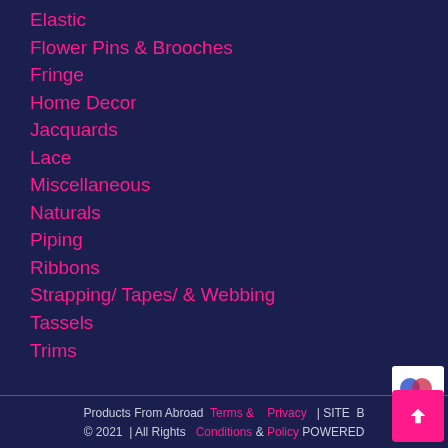Elastic
Flower Pins & Brooches
Fringe
Home Decor
Jacquards
Lace
Miscellaneous
Naturals
Piping
Ribbons
Strapping/ Tapes/ & Webbing
Tassels
Trims
Products From Abroad  Terms &  Privacy  | SITE B...
© 2021 | All Rights  Conditions & Policy POWERED